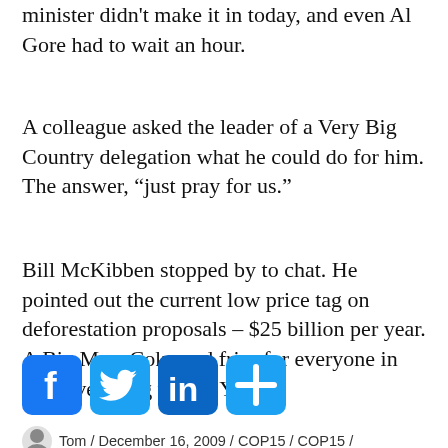minister didn't make it in today, and even Al Gore had to wait an hour.
A colleague asked the leader of a Very Big Country delegation what he could do for him. The answer, “just pray for us.”
Bill McKibben stopped by to chat. He pointed out the current low price tag on deforestation proposals – $25 billion per year. A Big Mac, Coke and fries for everyone in the developing world. Yay!
[Figure (infographic): Social sharing buttons: Facebook (blue), Twitter (blue), LinkedIn (teal-blue), Share/plus (teal-blue)]
Tom / December 16, 2009 / COP15 / COP15 /
Leave a comment